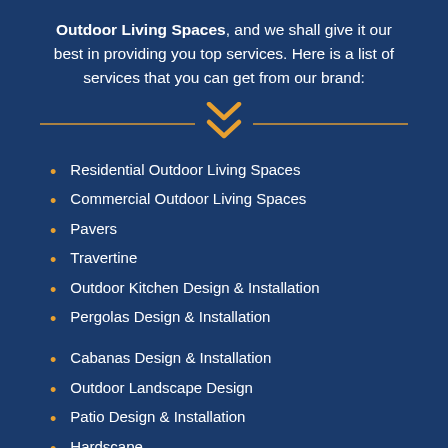Outdoor Living Spaces, and we shall give it our best in providing you top services. Here is a list of services that you can get from our brand:
[Figure (illustration): Decorative horizontal divider with two orange chevron/arrow icons pointing downward in the center, flanked by orange horizontal lines on each side.]
Residential Outdoor Living Spaces
Commercial Outdoor Living Spaces
Pavers
Travertine
Outdoor Kitchen Design & Installation
Pergolas Design & Installation
Cabanas Design & Installation
Outdoor Landscape Design
Patio Design & Installation
Hardscape